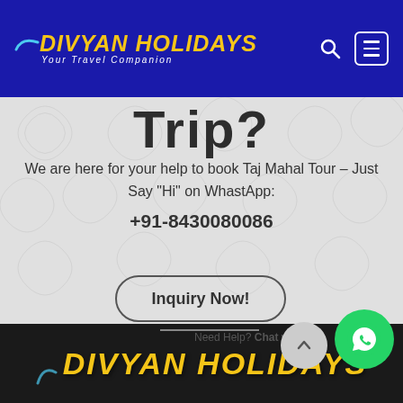[Figure (logo): Divyan Holidays logo with yellow italic text and 'Your Travel Companion' tagline on dark blue header background]
Trip?
We are here for your help to book Taj Mahal Tour - Just Say "Hi" on WhastApp: +91-8430080086
Inquiry Now!
Need Help? Chat with us
[Figure (logo): Divyan Holidays footer logo in yellow italic text on dark background]